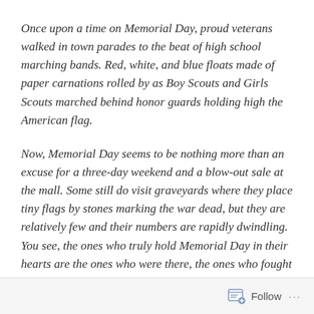Once upon a time on Memorial Day, proud veterans walked in town parades to the beat of high school marching bands. Red, white, and blue floats made of paper carnations rolled by as Boy Scouts and Girls Scouts marched behind honor guards holding high the American flag.
Now, Memorial Day seems to be nothing more than an excuse for a three-day weekend and a blow-out sale at the mall. Some still do visit graveyards where they place tiny flags by stones marking the war dead, but they are relatively few and their numbers are rapidly dwindling. You see, the ones who truly hold Memorial Day in their hearts are the ones who were there, the ones who fought alongside the soldiers who did not come home.
Follow ···